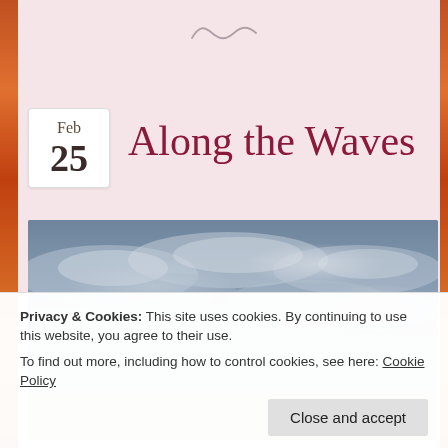[Figure (illustration): Decorative squiggle/tilde ornament in gray near top center]
Feb
25
Along the Waves
[Figure (photo): Photograph of an overcast sky with gray-blue clouds, a small strip of warm sunset light near the horizon]
Privacy & Cookies: This site uses cookies. By continuing to use this website, you agree to their use.
To find out more, including how to control cookies, see here: Cookie Policy
Close and accept